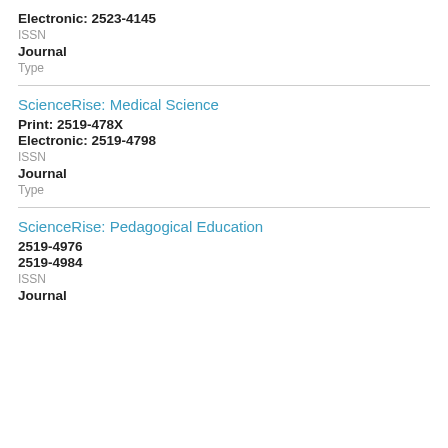Electronic: 2523-4145
ISSN
Journal
Type
ScienceRise: Medical Science
Print: 2519-478X
Electronic: 2519-4798
ISSN
Journal
Type
ScienceRise: Pedagogical Education
2519-4976
2519-4984
ISSN
Journal